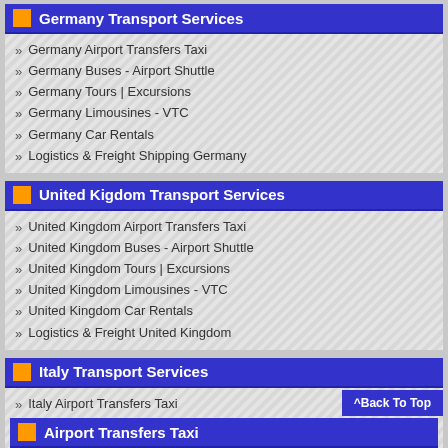Germany Transport Services
Germany Airport Transfers Taxi
Germany Buses - Airport Shuttle
Germany Tours | Excursions
Germany Limousines - VTC
Germany Car Rentals
Logistics & Freight Shipping Germany
United Kigdom Transport Services
United Kingdom Airport Transfers Taxi
United Kingdom Buses - Airport Shuttle
United Kingdom Tours | Excursions
United Kingdom Limousines - VTC
United Kingdom Car Rentals
Logistics & Freight United Kingdom
Italy Transport Services
Italy Airport Transfers Taxi
Italy Buses - Airport Shuttle
Italy Tours | Excursions
Italy Limousines - VTC
Italy Car Rentals
Logistics & Freight Shipping Italy
^Back To Top
Airport Transfers Taxi